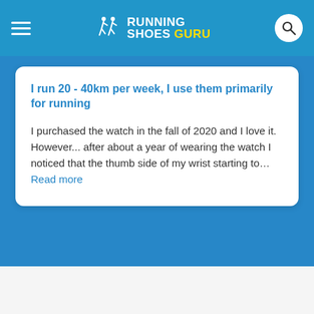RUNNING SHOES GURU
I run 20 - 40km per week, I use them primarily for running
I purchased the watch in the fall of 2020 and I love it. However... after about a year of wearing the watch I noticed that the thumb side of my wrist starting to... Read more